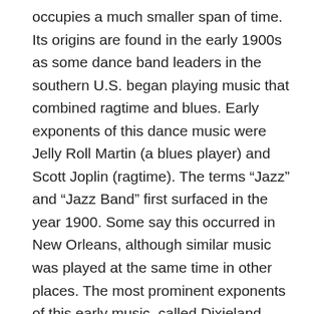occupies a much smaller span of time. Its origins are found in the early 1900s as some dance band leaders in the southern U.S. began playing music that combined ragtime and blues. Early exponents of this dance music were Jelly Roll Martin (a blues player) and Scott Joplin (ragtime). The terms “Jazz” and “Jazz Band” first surfaced in the year 1900. Some say this occurred in New Orleans, although similar music was played at the same time in other places. The most prominent exponents of this early music, called Dixieland Jazz, included Louis Armstrong and Sidney Bechet. After World War I, Jazz music had evolved and was aided by the development of the recording industry. The small dance band ensemble grew into the larger orchestra known as the “Big Band”. The music of the Big Bands became known as “Swing.”